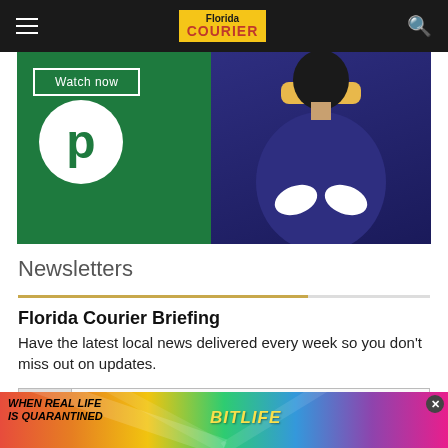Florida Courier
[Figure (photo): Publix advertisement banner with green background showing 'Watch now' button, Publix circular logo (white circle with green P), and a person wearing blue graduation gown and yellow sash]
Newsletters
Florida Courier Briefing
Have the latest local news delivered every week so you don't miss out on updates.
[Figure (screenshot): Email address input field with envelope icon on left and placeholder text 'Enter email address']
[Figure (photo): BitLife advertisement banner with rainbow background showing 'WHEN REAL LIFE IS QUARANTINED' text and BitLife logo with emoji characters]